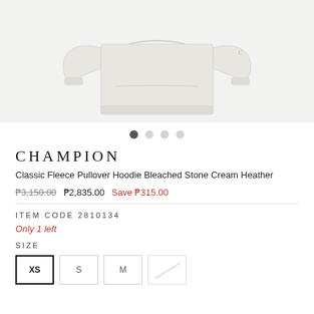[Figure (photo): Champion classic fleece pullover hoodie in bleached stone cream heather color, shown from back/front, light gray color on white background]
CHAMPION
Classic Fleece Pullover Hoodie Bleached Stone Cream Heather
₱3,150.00  ₱2,835.00  Save ₱315.00
ITEM CODE 2810134
Only 1 left
SIZE
XS  S  M  L (crossed out)